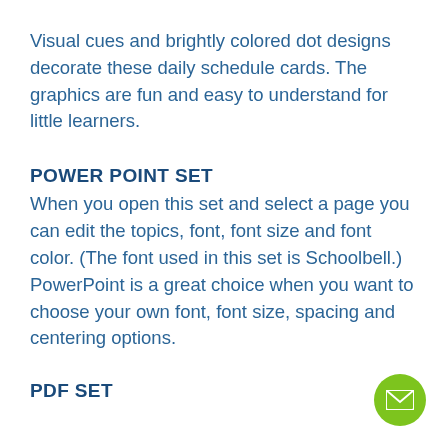Visual cues and brightly colored dot designs decorate these daily schedule cards. The graphics are fun and easy to understand for little learners.
POWER POINT SET
When you open this set and select a page you can edit the topics, font, font size and font color. (The font used in this set is Schoolbell.) PowerPoint is a great choice when you want to choose your own font, font size, spacing and centering options.
PDF SET
[Figure (illustration): Green circular button with white envelope/email icon in the bottom right corner]